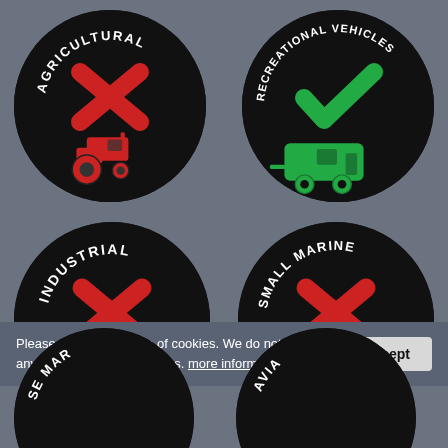[Figure (infographic): Black circular badge with curved white text 'AGRICULTURAL' along top arc, red X cross symbol in center, red tractor icon below. Indicates agricultural vehicles NOT permitted.]
[Figure (infographic): Black circular badge with curved white text 'RECREATIONAL VEHICLES' along top arc, green checkmark symbol in center, green caravan/RV icon below. Indicates recreational vehicles ARE permitted.]
[Figure (infographic): Black circular badge with curved white text 'INDUSTRIAL' along top arc, red X cross symbol in center, red dump truck icon below. Indicates industrial vehicles NOT permitted.]
[Figure (infographic): Black circular badge with curved white text 'SMALL MARINE' along top arc, red X cross symbol in center, red speedboat icon below. Indicates small marine vehicles NOT permitted.]
Please agree to the use of cookies. We do not store any personal data in cookies. more information
[Figure (infographic): Partially visible black circular badge at bottom left, text partially visible 'SE MAR...']
[Figure (infographic): Partially visible black circular badge at bottom right, text partially visible 'AVIA...']